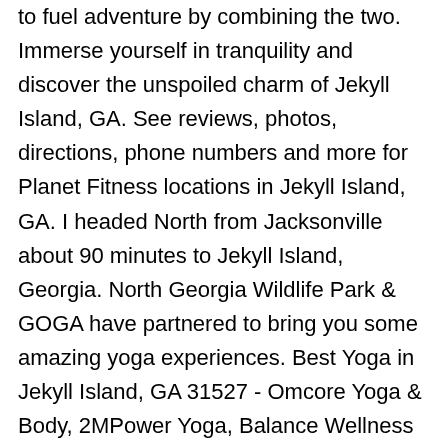to fuel adventure by combining the two. Immerse yourself in tranquility and discover the unspoiled charm of Jekyll Island, GA. See reviews, photos, directions, phone numbers and more for Planet Fitness locations in Jekyll Island, GA. I headed North from Jacksonville about 90 minutes to Jekyll Island, Georgia. North Georgia Wildlife Park & GOGA have partnered to bring you some amazing yoga experiences. Best Yoga in Jekyll Island, GA 31527 - Omcore Yoga & Body, 2MPower Yoga, Balance Wellness Studio, Atlantis Fitness & Pilates, CrossFit Glynco, The Club, Infuse Yoga, Christa Conn, Balance BWK, Best Body Bootcamps & Personal Fitness The Club 2929 Demere Road St. Simons Island, GA 31522 phone: 912-638-5600 fax: 912-638-6006 info@theclubssi.com Saint Marys, GA. Fort King George Historic Site. It was used as a non-denominational chapel until 1942. Darien, GA.